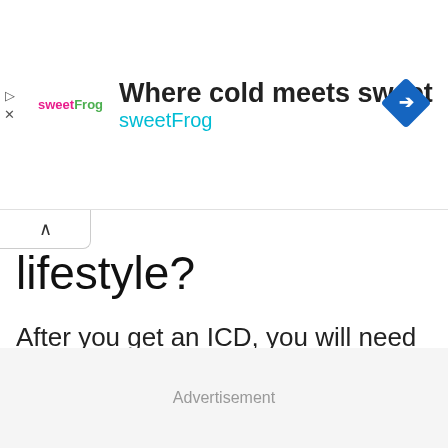[Figure (screenshot): sweetFrog advertisement banner: logo on left, headline 'Where cold meets sweet', subheading 'sweetFrog', blue diamond navigation arrow on right]
lifestyle?
After you get an ICD, you will need to limit activity. This allows your body to adjust and heal properly. You can slowly go back to your regular lifestyle. Ask your doctor when it is safe to drive a car again. It will vary based on your
Advertisement